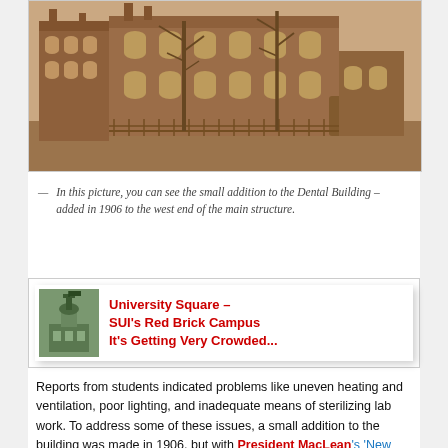[Figure (photo): Sepia-toned historical photograph of the Dental Building, a red brick multi-story building with arched windows, a fence in front, and bare trees, showing the small addition added in 1906 to the west end.]
— In this picture, you can see the small addition to the Dental Building – added in 1906 to the west end of the main structure.
[Figure (infographic): Banner image with a small thumbnail of a building on the left and red bold text reading: University Square – SUI's Red Brick Campus It's Getting Very Crowded...]
Reports from students indicated problems like uneven heating and ventilation, poor lighting, and inadequate means of sterilizing lab work. To address some of these issues, a small addition to the building was made in 1906, but with President MacLean's 'New University' facility plan, the idea of a big expansion on University Square